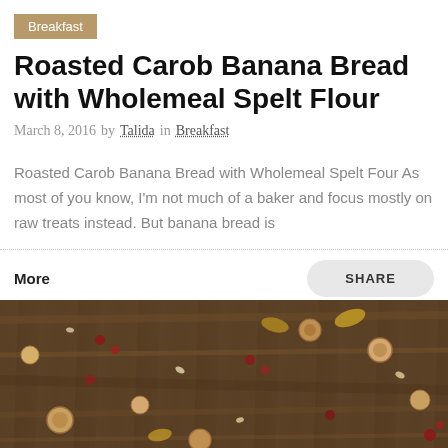Breakfast
Roasted Carob Banana Bread with Wholemeal Spelt Flour
March 8, 2016  by  Talida  in  Breakfast
Roasted Carob Banana Bread with Wholemeal Spelt Four As most of you know, I'm not much of a baker and focus mostly on raw treats instead. But banana bread is
More
SHARE
[Figure (photo): Overhead photo of nuts, seeds, and dried berries scattered on a rustic dark wooden surface, showing the ingredients for the banana bread recipe.]